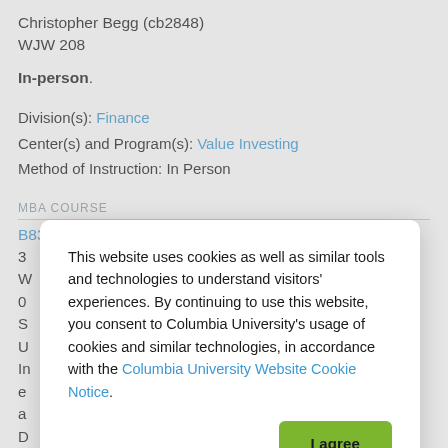Christopher Begg (cb2848)
WJW 208
In-person.
Division(s): Finance
Center(s) and Program(s): Value Investing
Method of Instruction: In Person
MBA COURSE
B8365-001 - Navigating China
3
W
0
S
U
In
e
a
D
Method of Instruction: In Person
This website uses cookies as well as similar tools and technologies to understand visitors' experiences. By continuing to use this website, you consent to Columbia University's usage of cookies and similar technologies, in accordance with the Columbia University Website Cookie Notice.
I agree